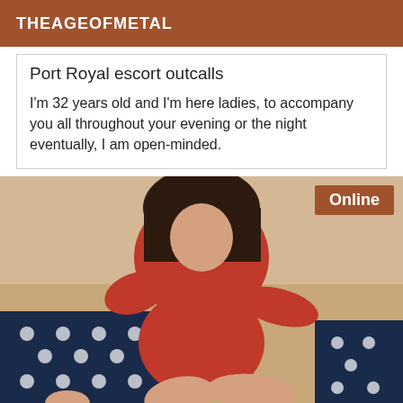THEAGEOFMETAL
Port Royal escort outcalls
I'm 32 years old and I'm here ladies, to accompany you all throughout your evening or the night eventually, I am open-minded.
[Figure (photo): Woman in red dress seated, photo with Online badge overlay in top right corner]